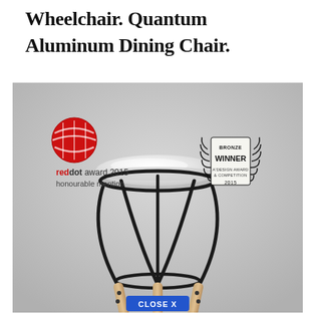Wheelchair. Quantum Aluminum Dining Chair.
[Figure (photo): Photo of a minimalist stool/chair with white round padded seat, black curved metal frame base, and wooden legs. Two award badges visible: reddot award 2015 honourable mention (left) and Bronze Winner A'Design Award & Competition 2015 (right). A blue 'CLOSE X' button appears at the bottom center of the image.]